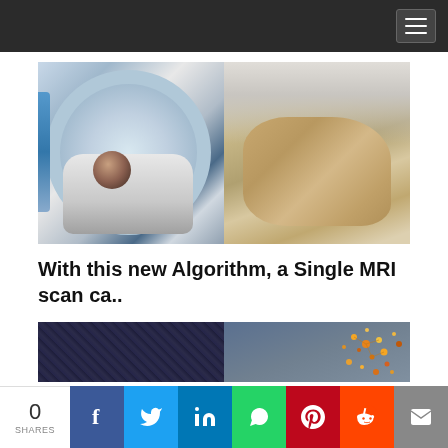[Figure (photo): Split image: left shows a patient lying in an MRI scanner (top-down view), right shows an elderly woman covering her face with her hand in distress]
With this new Algorithm, a Single MRI scan ca..
[Figure (photo): Two small thumbnail images side by side: left is a dark/abstract image, right shows scattered colorful dots on a gray background]
0 SHARES | Facebook | Twitter | LinkedIn | WhatsApp | Pinterest | Reddit | Email